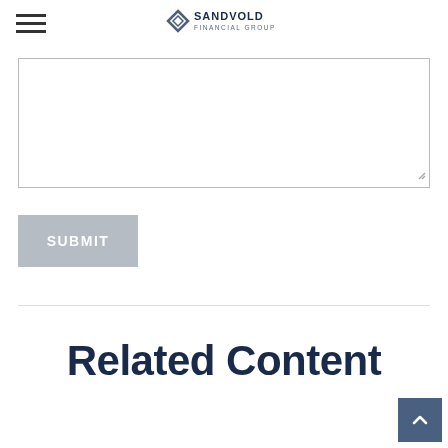Sandvold Financial Group
[Figure (other): Text area input field with resize handle in bottom-right corner]
[Figure (other): Gray Submit button]
Related Content